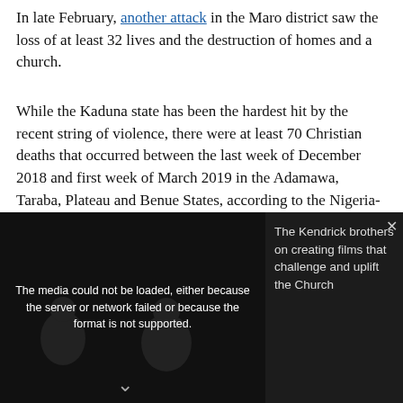In late February, another attack in the Maro district saw the loss of at least 32 lives and the destruction of homes and a church.
While the Kaduna state has been the hardest hit by the recent string of violence, there were at least 70 Christian deaths that occurred between the last week of December 2018 and first week of March 2019 in the Adamawa, Taraba, Plateau and Benue States, according to the Nigeria-based NGO International Society for Civil Liberties & the Rule of Law.
In 2018, it was reported that thousands of Christians in the Middle Belt were killed by Fulani radicals.
As Agence France Press notes, Nigeria's Middle Belt has suffered from years-long violence between mostly Muslim Fulani cattle herders and indigenous Christian grain farmers.
Recommended Videos Powered by AnyClip
[Figure (screenshot): A video player overlay showing a media error message 'The media could not be loaded, either because the server or network failed or because the format is not supported.' on a dark background with two dark human figures visible at bottom left, and on the right side text reading 'The Kendrick brothers on creating films that challenge and uplift the Church']